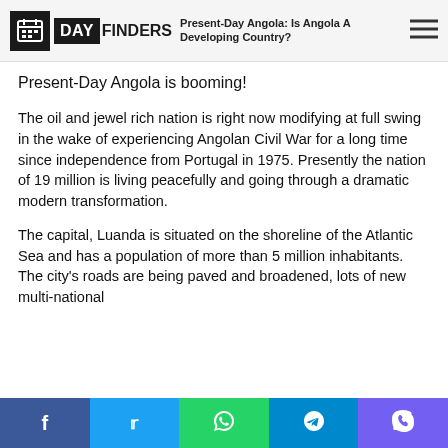DAY FINDERS — Present-Day Angola: Is Angola A Developing Country?
Present-Day Angola is booming!
The oil and jewel rich nation is right now modifying at full swing in the wake of experiencing Angolan Civil War for a long time since independence from Portugal in 1975. Presently the nation of 19 million is living peacefully and going through a dramatic modern transformation.
The capital, Luanda is situated on the shoreline of the Atlantic Sea and has a population of more than 5 million inhabitants. The city's roads are being paved and broadened, lots of new multi-national
Facebook | Twitter | WhatsApp | Telegram | Viber